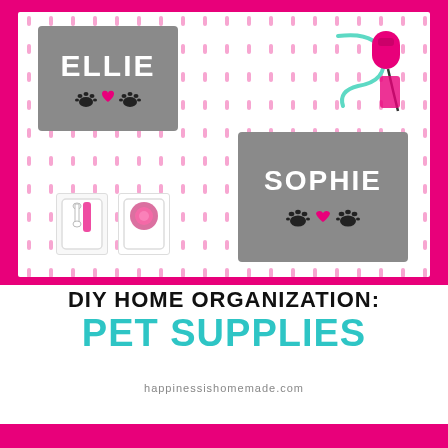[Figure (photo): Photo of a pink pegboard organizer displaying personalized gray pet supply bags labeled 'ELLIE' and 'SOPHIE' with paw print and heart decorations, white cups holding dog toys and accessories, pink retractable leash, and mint green leash hanging on a white pegboard with pink background.]
DIY HOME ORGANIZATION: PET SUPPLIES
HAPPINESSISHOMEMADE.com